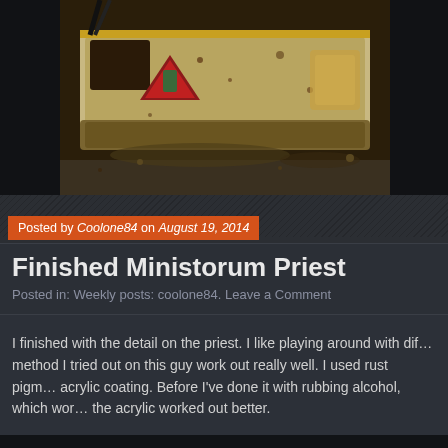[Figure (photo): Close-up photo of a painted miniature wargaming vehicle/tank model with weathered cream/white and gold colors, featuring rust effects and a small painted figure decal, on a dark sandy base.]
Posted by Coolone84 on August 19, 2014
Finished Ministorum Priest
Posted in: Weekly posts: coolone84. Leave a Comment
I finished with the detail on the priest. I like playing around with different rust methods and the method I tried out on this guy work out really well. I used rust pigments and fixed them with an acrylic coating. Before I've done it with rubbing alcohol, which works ok, but I think the acrylic worked out better.
[Figure (photo): Partially visible photo at the bottom of the page, appears dark/black.]